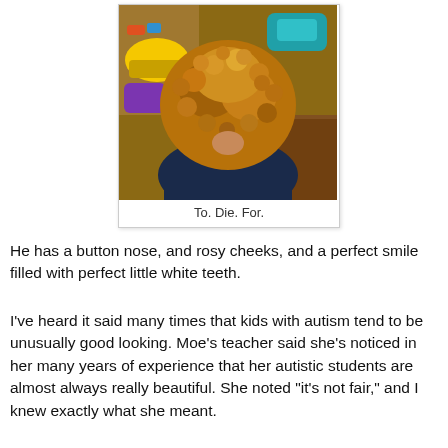[Figure (photo): Photo of a young child with curly reddish-brown hair viewed from behind, sitting at a table with colorful toys in the background.]
To. Die. For.
He has a button nose, and rosy cheeks, and a perfect smile filled with perfect little white teeth.
I've heard it said many times that kids with autism tend to be unusually good looking. Moe's teacher said she's noticed in her many years of experience that her autistic students are almost always really beautiful. She noted "it's not fair," and I knew exactly what she meant.